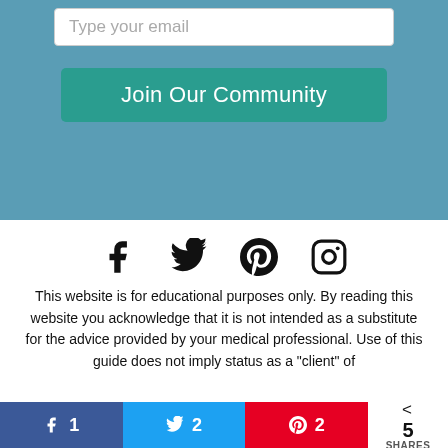[Figure (screenshot): Email input field with placeholder text 'Type your email' on a teal/blue background]
[Figure (screenshot): Button labeled 'Join Our Community' in teal color on blue background]
[Figure (infographic): Social media icons: Facebook, Twitter, Pinterest, Instagram in black on white background]
This website is for educational purposes only. By reading this website you acknowledge that it is not intended as a substitute for the advice provided by your medical professional. Use of this guide does not imply status as a "client" of
Facebook 1  Twitter 2  Pinterest 2  < 5 SHARES